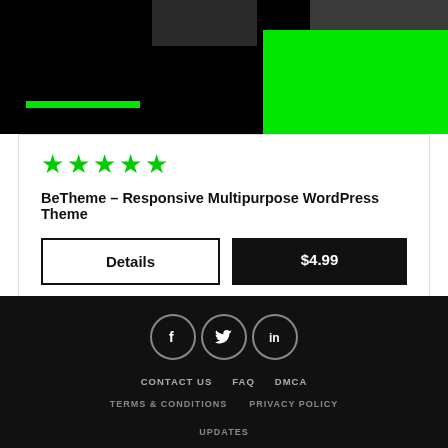[Figure (screenshot): Product card image area with black background, green decorative bar and block, and thumbnail images in upper portion]
[Figure (other): Five green star rating icons]
BeTheme – Responsive Multipurpose WordPress Theme
Details
$4.99
[Figure (other): Social media icons: Facebook, Twitter, LinkedIn in circular borders]
CONTACT US   FAQ   DMCA   TERMS & CONDITIONS   PRIVACY POLICY   UPDATES   Copyright © 2022 LeThemez. All rights reserved.